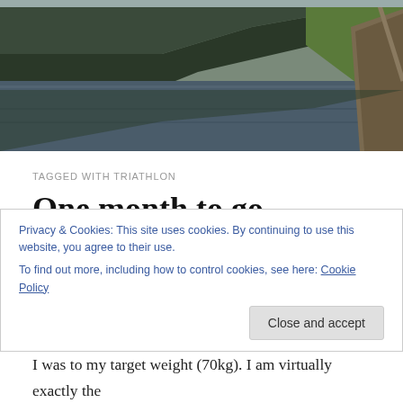[Figure (photo): Landscape photo of a mountain lake with reflections, green hillsides, and a road with stone wall along the right edge.]
TAGGED WITH TRIATHLON
One month to go...
Here is the penultimate progress picture…I realised that I have missed the last one when I was away galavanting in Southern Africa. Probably for the best as I fell off the
Privacy & Cookies: This site uses cookies. By continuing to use this website, you agree to their use.
To find out more, including how to control cookies, see here: Cookie Policy
I was to my target weight (70kg). I am virtually exactly the